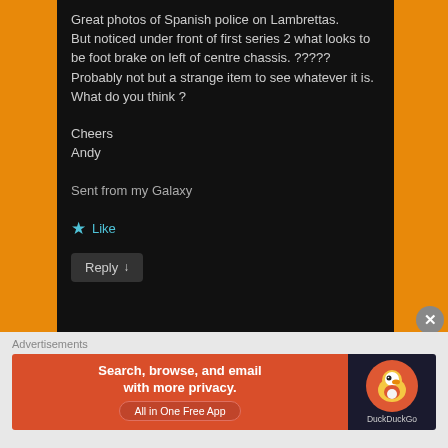Great photos of Spanish police on Lambrettas.
But noticed under front of first series 2 what looks to be foot brake on left of centre chassis. ?????
Probably not but a strange item to see whatever it is.
What do you think ?

Cheers
Andy

Sent from my Galaxy
★ Like
Reply ↓
Advertisements
[Figure (screenshot): DuckDuckGo advertisement banner: 'Search, browse, and email with more privacy. All in One Free App' on orange background with DuckDuckGo logo on dark background]